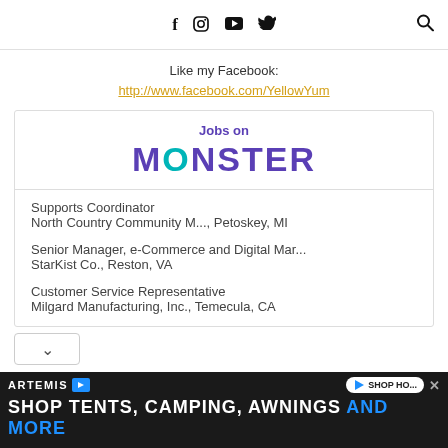Social media icons: Facebook, Instagram, YouTube, Twitter, Search
Like my Facebook:
http://www.facebook.com/YellowYum
[Figure (other): Jobs on Monster widget with job listings]
Supports Coordinator
North Country Community M..., Petoskey, MI
Senior Manager, e-Commerce and Digital Mar...
StarKist Co., Reston, VA
Customer Service Representative
Milgard Manufacturing, Inc., Temecula, CA
[Figure (other): Artemis advertisement banner: SHOP TENTS, CAMPING, AWNINGS AND MORE]